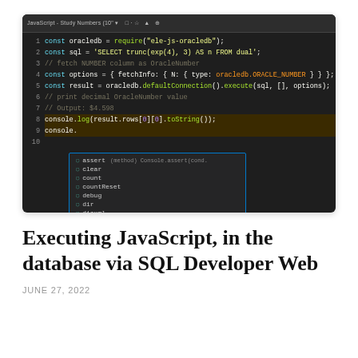[Figure (screenshot): Screenshot of a code editor (VS Code-like dark theme) showing JavaScript code using oracledb module with a SQL query, and an autocomplete dropdown showing console methods (assert, clear, count, countReset, debug, dir, dirxml, error, exception, group, groupCollapsed, groupEnd)]
Executing JavaScript, in the database via SQL Developer Web
JUNE 27, 2022